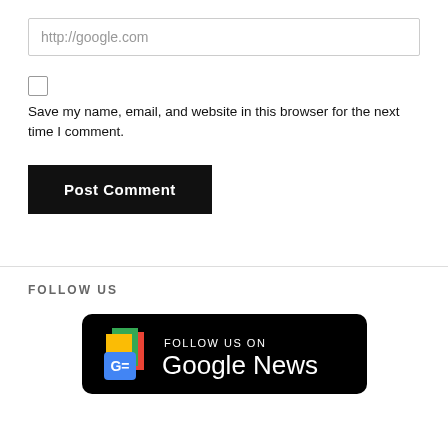http://google.com
Save my name, email, and website in this browser for the next time I comment.
Post Comment
FOLLOW US
[Figure (logo): Follow us on Google News badge — black rounded rectangle with Google News logo (colorful stacked papers icon with blue G= square) and text 'FOLLOW US ON Google News' in white]